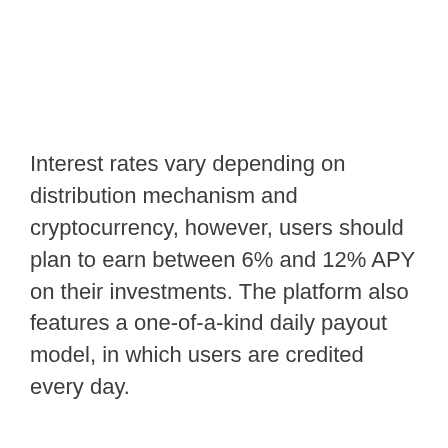Interest rates vary depending on distribution mechanism and cryptocurrency, however, users should plan to earn between 6% and 12% APY on their investments. The platform also features a one-of-a-kind daily payout model, in which users are credited every day.
Nexo Card
The Nexo credit card is tied directly to the Nexo account, allowing users to convert their crypto